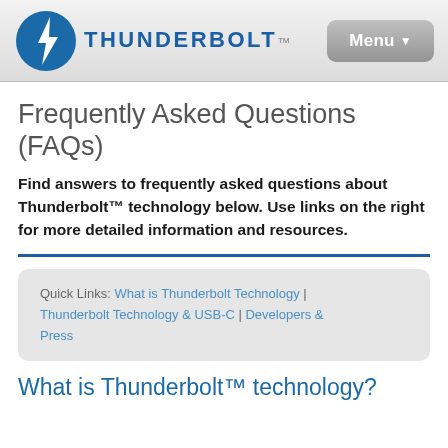Thunderbolt logo and Menu button
Frequently Asked Questions (FAQs)
Find answers to frequently asked questions about Thunderbolt™ technology below. Use links on the right for more detailed information and resources.
Quick Links: What is Thunderbolt Technology | Thunderbolt Technology & USB-C | Developers & Press
What is Thunderbolt™ technology?